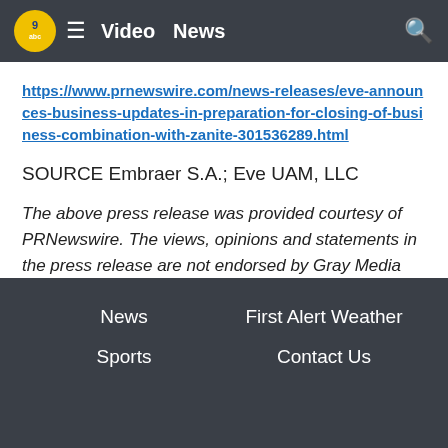Video  News
https://www.prnewswire.com/news-releases/eve-announces-business-updates-in-preparation-for-closing-of-business-combination-with-zanite-301536289.html
SOURCE Embraer S.A.; Eve UAM, LLC
The above press release was provided courtesy of PRNewswire. The views, opinions and statements in the press release are not endorsed by Gray Media Group nor do they necessarily state or reflect those of Gray Media Group, Inc.
News  Sports  First Alert Weather  Contact Us